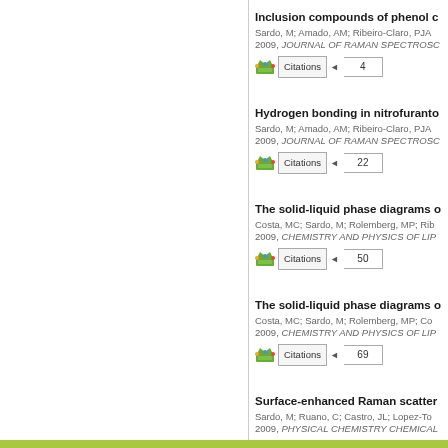Inclusion compounds of phenol c... | Sardo, M; Amado, AM; Ribeiro-Claro, PJA | 2009, JOURNAL OF RAMAN SPECTROSC | Citations: 4
Hydrogen bonding in nitrofuranto... | Sardo, M; Amado, AM; Ribeiro-Claro, PJA | 2009, JOURNAL OF RAMAN SPECTROSC | Citations: 22
The solid-liquid phase diagrams o... | Costa, MC; Sardo, M; Rolemberg, MP; Rib... | 2009, CHEMISTRY AND PHYSICS OF LIP | Citations: 50
The solid-liquid phase diagrams o... | Costa, MC; Sardo, M; Rolemberg, MP; Co... | 2009, CHEMISTRY AND PHYSICS OF LIP | Citations: 69
Surface-enhanced Raman scatter... | Sardo, M; Ruano, C; Castro, JL; Lopez-To... | 2009, PHYSICAL CHEMISTRY CHEMICAL | Citations: 21